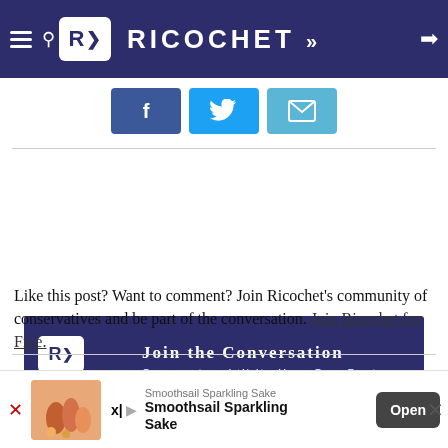RICOCHET
[Figure (screenshot): Social share buttons row: Facebook, Twitter, Email]
[Figure (infographic): Ricochet ad banner: Join the Conversation - Comment and Write Your Own Posts - Only $5 a month - ricochet.com]
Like this post? Want to comment? Join Ricochet's community of conservatives and be part of the conversation. Join Ricochet for Free.
THERE ARE 9 COMMENTS.
Become a member to join the conversation. Or sign in if you're already a member.
[Figure (screenshot): Bottom advertisement banner: Smoothsail Sparkling Sake with Open button]